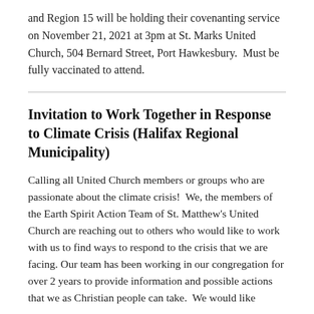and Region 15 will be holding their covenanting service on November 21, 2021 at 3pm at St. Marks United Church, 504 Bernard Street, Port Hawkesbury.  Must be fully vaccinated to attend.
Invitation to Work Together in Response to Climate Crisis (Halifax Regional Municipality)
Calling all United Church members or groups who are passionate about the climate crisis!  We, the members of the Earth Spirit Action Team of St. Matthew's United Church are reaching out to others who would like to work with us to find ways to respond to the crisis that we are facing. Our team has been working in our congregation for over 2 years to provide information and possible actions that we as Christian people can take.  We would like